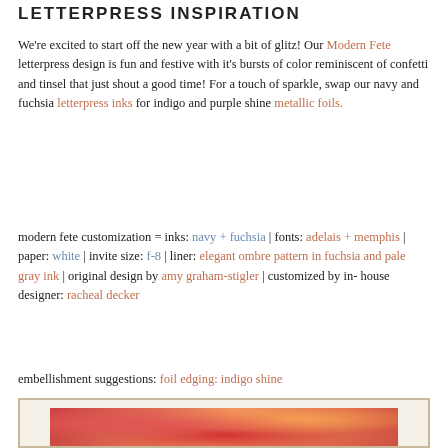LETTERPRESS INSPIRATION
We're excited to start off the new year with a bit of glitz! Our Modern Fete letterpress design is fun and festive with it's bursts of color reminiscent of confetti and tinsel that just shout a good time! For a touch of sparkle, swap our navy and fuchsia letterpress inks for indigo and purple shine metallic foils.
modern fete customization = inks: navy + fuchsia | fonts: adelais + memphis | paper: white | invite size: f-8 | liner: elegant ombre pattern in fuchsia and pale gray ink | original design by amy graham-stigler | customized by in-house designer: racheal decker
embellishment suggestions: foil edging: indigo shine
[Figure (photo): Photo of colorful letterpress invitation materials with confetti and festive decor in red, orange, and gold tones]